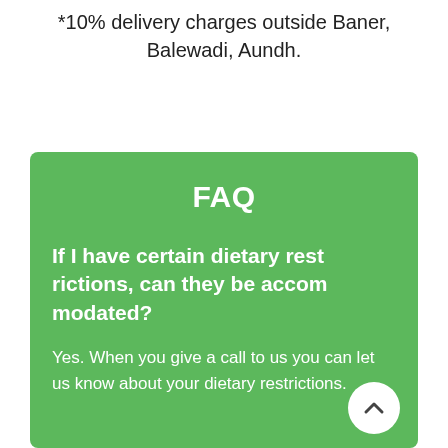*10% delivery charges outside Baner, Balewadi, Aundh.
FAQ
If I have certain dietary restrictions, can they be accommodated?
Yes. When you give a call to us you can let us know about your dietary restrictions.